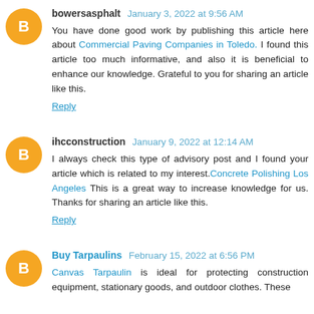bowersasphalt January 3, 2022 at 9:56 AM
You have done good work by publishing this article here about Commercial Paving Companies in Toledo. I found this article too much informative, and also it is beneficial to enhance our knowledge. Grateful to you for sharing an article like this.
Reply
ihcconstruction January 9, 2022 at 12:14 AM
I always check this type of advisory post and I found your article which is related to my interest.Concrete Polishing Los Angeles This is a great way to increase knowledge for us. Thanks for sharing an article like this.
Reply
Buy Tarpaulins February 15, 2022 at 6:56 PM
Canvas Tarpaulin is ideal for protecting construction equipment, stationary goods, and outdoor clothes. These